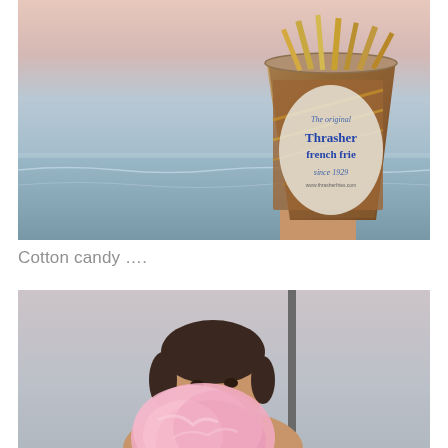[Figure (photo): A hand holding a cup of Thrasher's French Fries (The original Thrasher french fries since 1929) against a beach/ocean sunset background with pink and blue sky.]
Cotton candy ….
[Figure (photo): A smiling young woman holding pink cotton candy at a beach/boardwalk setting with a pale sky background and a vertical pole visible behind her.]